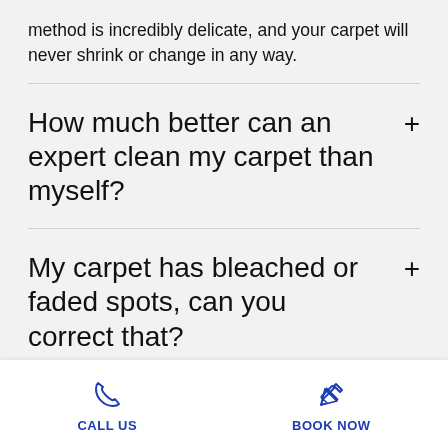method is incredibly delicate, and your carpet will never shrink or change in any way.
How much better can an expert clean my carpet than myself?
My carpet has bleached or faded spots, can you correct that?
Wh...
CALL US   BOOK NOW